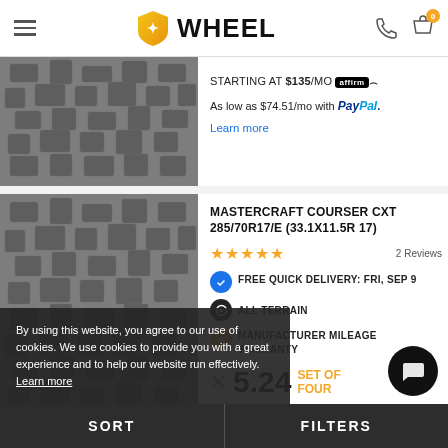WHEEL - navigation header with menu, logo, phone, and cart icons
STARTING AT $135/MO affirm
As low as $74.51/mo with PayPal.
Learn more
MASTERCRAFT COURSER CXT 285/70R17/E (33.1X11.5R 17)
★★★★★  2 Reviews
FREE QUICK DELIVERY: FRI, SEP 9
ALL TERRAIN
MANUFACTURER MILEAGE WARRANTY
X $5.24 SET OF FOUR
$134/MO affirm
As low as $73.66/mo with P
Learn more
By using this website, you agree to our use of cookies. We use cookies to provide you with a great experience and to help our website run effectively. Learn more
SORT    FILTERS